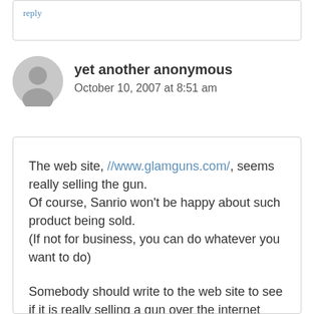reply
yet another anonymous
October 10, 2007 at 8:51 am
The web site, //www.glamguns.com/, seems really selling the gun.
Of course, Sanrio won't be happy about such product being sold.
(If not for business, you can do whatever you want to do)
Somebody should write to the web site to see if it is really selling a gun over the internet (the web site is not accessible here)